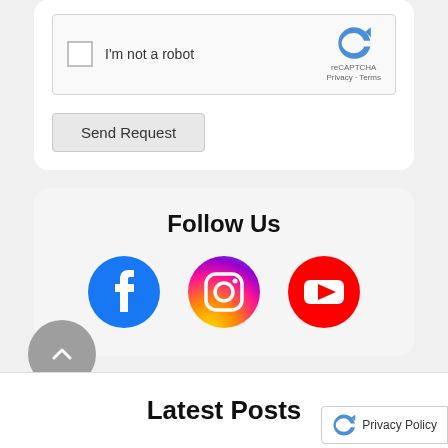[Figure (screenshot): reCAPTCHA widget with checkbox labeled 'I'm not a robot' and reCAPTCHA logo with 'Privacy · Terms' text]
[Figure (screenshot): Send Request button — a gray rectangular button]
Follow Us
[Figure (infographic): Three social media icons: Facebook (blue circle with white F), Instagram (gradient purple-orange circle with camera icon), YouTube (red circle with white play button)]
[Figure (other): Gray circular back-to-top button with upward chevron arrow]
Latest Posts
Privacy Policy